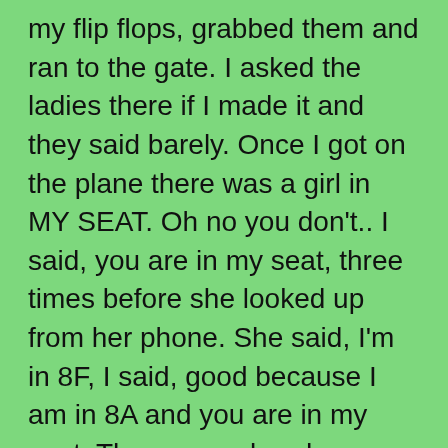my flip flops, grabbed them and ran to the gate. I asked the ladies there if I made it and they said barely. Once I got on the plane there was a girl in MY SEAT. Oh no you don't.. I said, you are in my seat, three times before she looked up from her phone. She said, I'm in 8F, I said, good because I am in 8A and you are in my seat. There was already someone in 8F and the 2 people in 8D and E were both ticketed to sit in the same seat, 8D. The girl in my seat said you can just sit in 8F and I said NO, I want my seat. Dammit to hell..They finally got that straightened out and I was in my seat and off to Baltimore, not arriving until